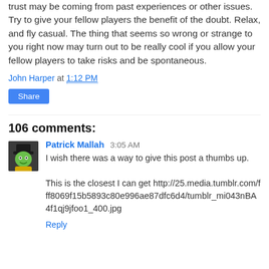trust may be coming from past experiences or other issues. Try to give your fellow players the benefit of the doubt. Relax, and fly casual. The thing that seems so wrong or strange to you right now may turn out to be really cool if you allow your fellow players to take risks and be spontaneous.
John Harper at 1:12 PM
Share
106 comments:
Patrick Mallah 3:05 AM
I wish there was a way to give this post a thumbs up.

This is the closest I can get http://25.media.tumblr.com/fff8069f15b5893c80e996ae87dfc6d4/tumblr_mi043nBA4f1qj9jfoo1_400.jpg
Reply